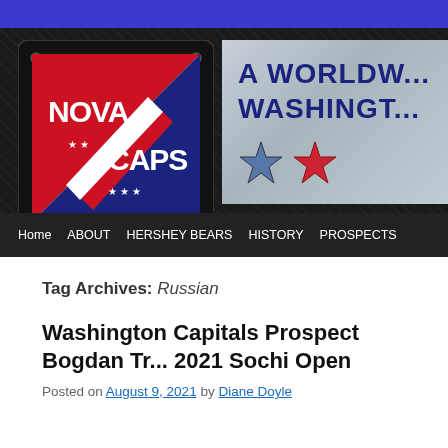[Figure (logo): NovaCaps blog header banner with Nova Caps hockey logo on left and 'A WORLDWIDE WASHINGTON' text with stars on silver plate on right, over dark diamond-plate background]
Home  ABOUT  HERSHEY BEARS  HISTORY  PROSPECTS
Tag Archives: Russian
Washington Capitals Prospect Bogdan Tr... 2021 Sochi Open
Posted on August 9, 2021 by Diane Doyle